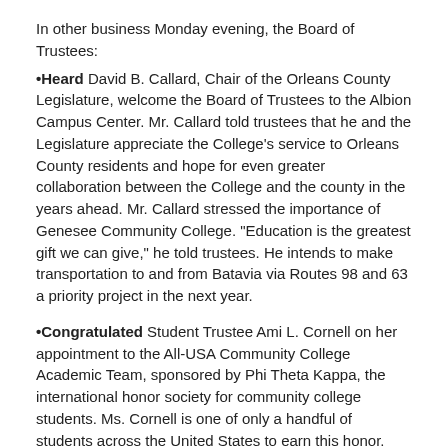In other business Monday evening, the Board of Trustees:
•Heard David B. Callard, Chair of the Orleans County Legislature, welcome the Board of Trustees to the Albion Campus Center. Mr. Callard told trustees that he and the Legislature appreciate the College's service to Orleans County residents and hope for even greater collaboration between the College and the county in the years ahead. Mr. Callard stressed the importance of Genesee Community College. "Education is the greatest gift we can give," he told trustees. He intends to make transportation to and from Batavia via Routes 98 and 63 a priority project in the next year.
•Congratulated Student Trustee Ami L. Cornell on her appointment to the All-USA Community College Academic Team, sponsored by Phi Theta Kappa, the international honor society for community college students. Ms. Cornell is one of only a handful of students across the United States to earn this honor. Ms. Cornell is also a 2015 recipient of the State University of New York Chancellor's Award for Student Excellence. She expects to graduate from Genesee next month and plans to attend Mercyhurst College in Pennsylvania this fall.